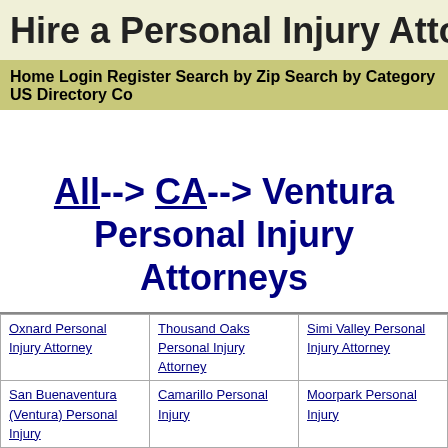Hire a Personal Injury Atto
Home  Login  Register  Search by Zip  Search by Category  US Directory  Co
All--> CA--> Ventura Personal Injury Attorneys
| Oxnard Personal Injury Attorney | Thousand Oaks Personal Injury Attorney | Simi Valley Personal Injury Attorney |
| San Buenaventura (Ventura) Personal Injury | Camarillo Personal Injury | Moorpark Personal Injury |